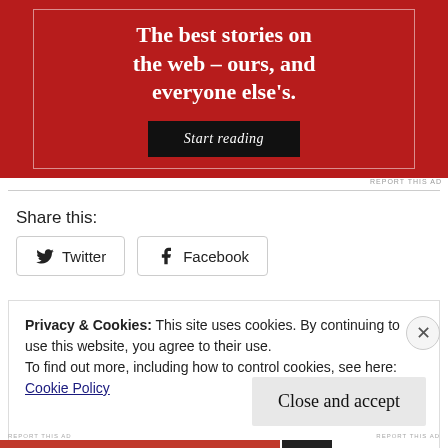[Figure (illustration): Red advertisement banner with white text reading 'The best stories on the web – ours, and everyone else's.' and a black 'Start reading' button, inside a white-bordered box on red background.]
REPORT THIS AD
Share this:
Twitter
Facebook
Privacy & Cookies: This site uses cookies. By continuing to use this website, you agree to their use.
To find out more, including how to control cookies, see here:
Cookie Policy
Close and accept